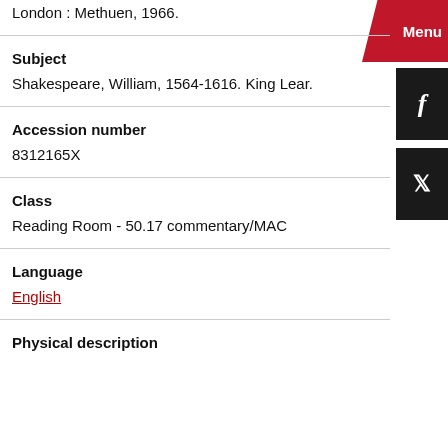London : Methuen, 1966.
Subject
Shakespeare, William, 1564-1616. King Lear.
Accession number
8312165X
Class
Reading Room - 50.17 commentary/MAC
Language
English
Physical description